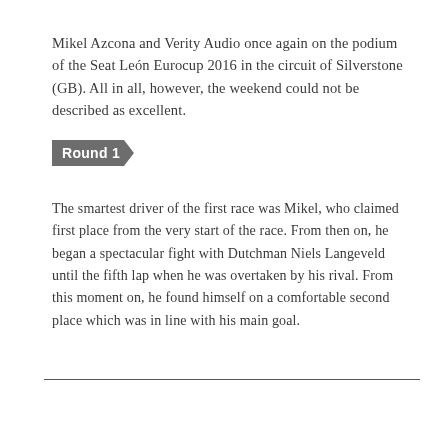Mikel Azcona and Verity Audio once again on the podium of the Seat León Eurocup 2016 in the circuit of Silverstone (GB). All in all, however, the weekend could not be described as excellent.
Round 1
The smartest driver of the first race was Mikel, who claimed first place from the very start of the race. From then on, he began a spectacular fight with Dutchman Niels Langeveld until the fifth lap when he was overtaken by his rival. From this moment on, he found himself on a comfortable second place which was in line with his main goal.